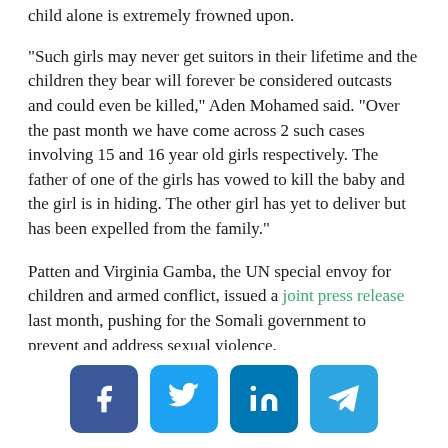child alone is extremely frowned upon.
“Such girls may never get suitors in their lifetime and the children they bear will forever be considered outcasts and could even be killed,” Aden Mohamed said. “Over the past month we have come across 2 such cases involving 15 and 16 year old girls respectively. The father of one of the girls has vowed to kill the baby and the girl is in hiding. The other girl has yet to deliver but has been expelled from the family.”
Patten and Virginia Gamba, the UN special envoy for children and armed conflict, issued a joint press release last month, pushing for the Somali government to prevent and address sexual violence.
They asked the government to carry out its 2012